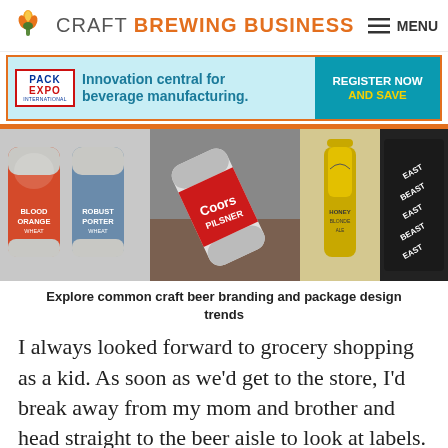CRAFT BREWING BUSINESS  ≡ MENU
[Figure (screenshot): Pack Expo International advertisement banner: 'Innovation central for beverage manufacturing. REGISTER NOW AND SAVE']
[Figure (photo): Strip of craft beer packaging photos: Blood Orange Wheat and Robust Porter cans, Coors Pilsner cans held in hand, Honey Blonde Ale bottle, dark label close-up]
Explore common craft beer branding and package design trends
I always looked forward to grocery shopping as a kid. As soon as we'd get to the store, I'd break away from my mom and brother and head straight to the beer aisle to look at labels. Granted, I had no idea what beer was aside